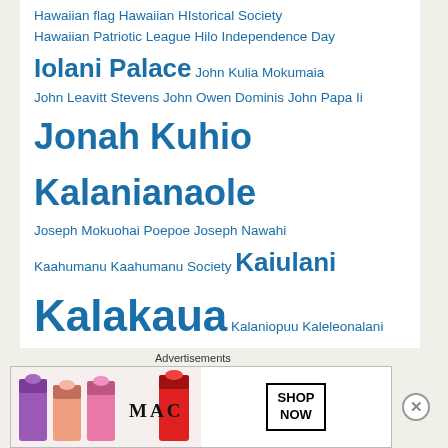Hawaiian flag Hawaiian HIstorical Society
Hawaiian Patriotic League Hilo Independence Day
Iolani Palace John Kulia Mokumaia
John Leavitt Stevens John Owen Dominis John Papa Ii
Jonah Kuhio Kalanianaole
Joseph Mokuohai Poepoe Joseph Nawahi
Kaahumanu Kaahumanu Society Kaiulani
Kalakaua Kalaniopuu Kaleleonalani
Kamehameha Day Kamehameha I
Kamehameha II Kamehameha III
Kamehameha IV Kamehameha School
Kamehameha School for Girls
Kamehameha Schools
Advertisements
[Figure (photo): MAC Cosmetics advertisement banner showing lipsticks in purple, peach, pink, and red colors next to the MAC logo and a 'SHOP NOW' button]